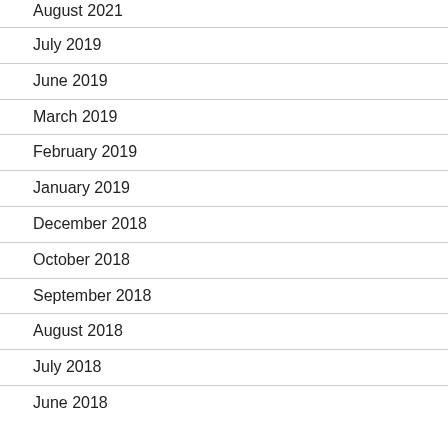August 2021
July 2019
June 2019
March 2019
February 2019
January 2019
December 2018
October 2018
September 2018
August 2018
July 2018
June 2018